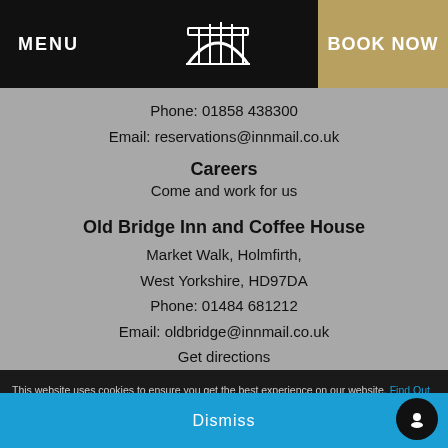MENU | [bridge logo] | BOOK NOW
Phone: 01858 438300
Email: reservations@innmail.co.uk
Careers
Come and work for us
Old Bridge Inn and Coffee House
Market Walk, Holmfirth,
West Yorkshire, HD97DA
Phone: 01484 681212
Email: oldbridge@innmail.co.uk
Get directions
This website uses cookies to ensure you get the best experience on our website. Find Out More
Dismiss